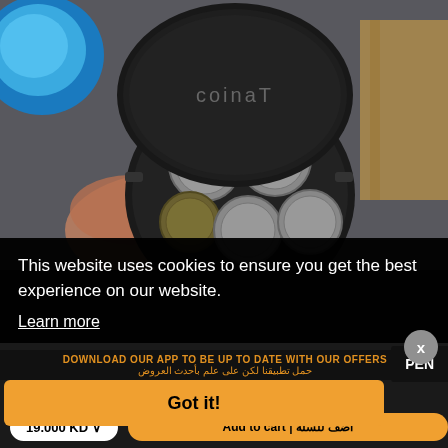[Figure (photo): Product photo of a Coinat coin organizer case held open by a hand, showing 5 coins in circular slots. A blue circular container lid is visible on the left, and a cardboard box is partially visible on the right. Dark background.]
This website uses cookies to ensure you get the best experience on our website.
Learn more
DOWNLOAD OUR APP TO BE UP TO DATE WITH OUR OFFERS
حمل تطبيقنا لكن على علم بأحدث العروض
Got it!
19.000 KD
Add to cart | أضف للسلة